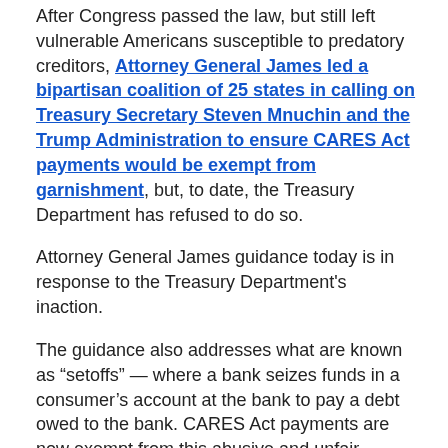After Congress passed the law, but still left vulnerable Americans susceptible to predatory creditors, Attorney General James led a bipartisan coalition of 25 states in calling on Treasury Secretary Steven Mnuchin and the Trump Administration to ensure CARES Act payments would be exempt from garnishment, but, to date, the Treasury Department has refused to do so.
Attorney General James guidance today is in response to the Treasury Department's inaction.
The guidance also addresses what are known as “setoffs” — where a bank seizes funds in a consumer’s account at the bank to pay a debt owed to the bank. CARES Act payments are now exempt from this abusive and unfair practice, and Attorney General James is urging all financial institutions to follow the lead of the nation’s largest banks and halt collection on negative account balances to give their customers access to vital stimulus payments.